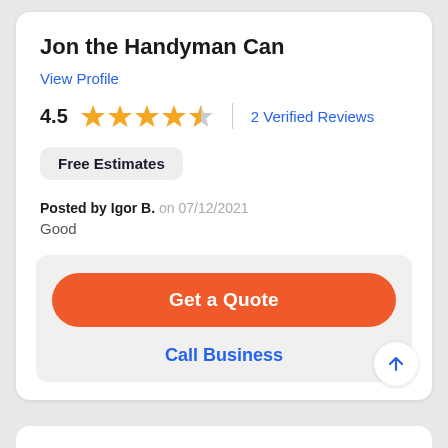Jon the Handyman Can
View Profile
4.5  ★★★★½  |  2 Verified Reviews
Free Estimates
Posted by Igor B. on 07/12/2021
Good
Get a Quote
Call Business